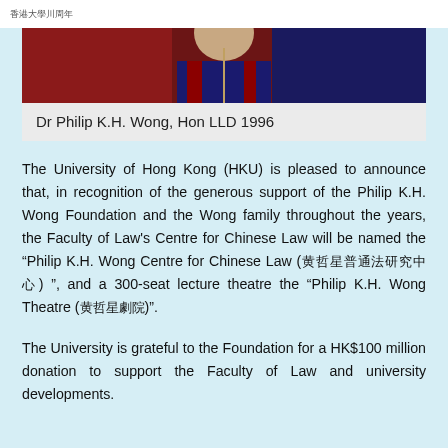香港大學川周年
[Figure (photo): Photograph of Dr Philip K.H. Wong in academic regalia, red and blue gown visible]
Dr Philip K.H. Wong, Hon LLD 1996
The University of Hong Kong (HKU) is pleased to announce that, in recognition of the generous support of the Philip K.H. Wong Foundation and the Wong family throughout the years, the Faculty of Law's Centre for Chinese Law will be named the "Philip K.H. Wong Centre for Chinese Law (黃哲星普通法研究中心)", and a 300-seat lecture theatre the "Philip K.H. Wong Theatre (黃哲星劇院)".
The University is grateful to the Foundation for a HK$100 million donation to support the Faculty of Law and university developments.